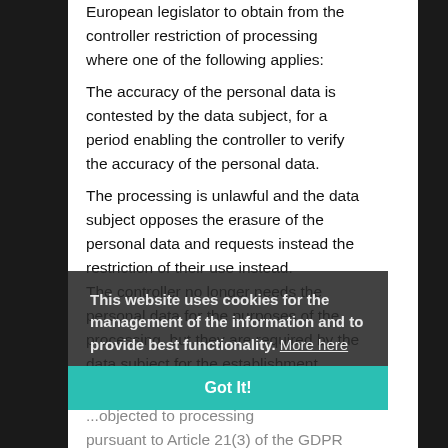European legislator to obtain from the controller restriction of processing where one of the following applies:
The accuracy of the personal data is contested by the data subject, for a period enabling the controller to verify the accuracy of the personal data.
The processing is unlawful and the data subject opposes the erasure of the personal data and requests instead the restriction of their use instead.
The controller no longer needs the personal data for the purposes of the processing, but they are required by the data subject for the establishment, exercise or defence of legal claims.
...objected to processing pursuant to Article 21(3) of GDPR pending the verification whether the legitimate grounds of the controller override those of the data subject.
If one of the aforementioned conditions is met, and a data subject wishes to request the restriction of the
This website uses cookies for the management of the information and to provide best functionality. More here
Got It!